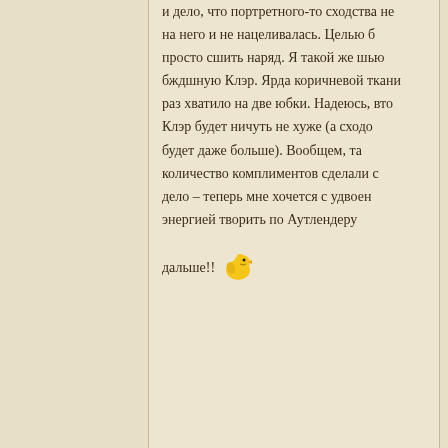и дело, что портретного-то сходства не на него и не нацеливалась. Целью б просто сшить наряд. Я такой же шью бждшную Клэр. Ярда коричневой ткани раз хватило на две юбки. Надеюсь, вто Клэр будет ничуть не хуже (а сходо будет даже больше). Вообщем, та количество комплиментов сделали с дело – теперь мне хочется с удвоен энергией творить по Аутлендеру дальше!!
Reply